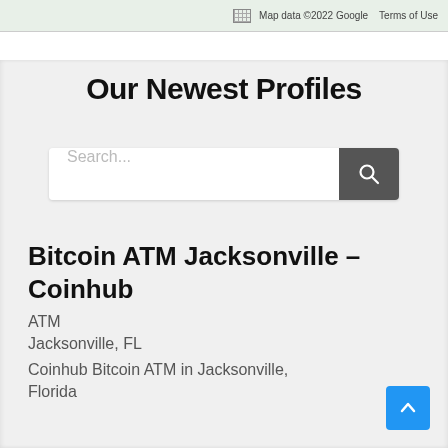[Figure (screenshot): Map strip at top showing Google Maps attribution with grid icon, 'Map data ©2022 Google' and 'Terms of Use' text]
Our Newest Profiles
[Figure (screenshot): Search input field with placeholder text 'Search...' and a dark grey search button with magnifying glass icon]
Bitcoin ATM Jacksonville – Coinhub
ATM
Jacksonville, FL
Coinhub Bitcoin ATM in Jacksonville, Florida